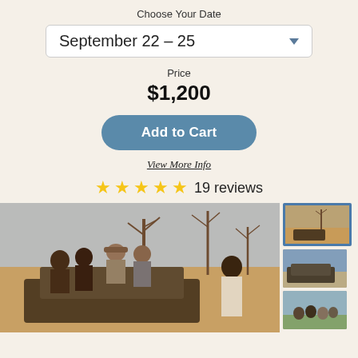Choose Your Date
September 22 – 25
Price
$1,200
Add to Cart
View More Info
19 reviews
[Figure (photo): Group of tourists on a safari vehicle in a dry savanna landscape with bare trees]
[Figure (photo): Thumbnail 1: safari vehicle with trees, selected with blue border]
[Figure (photo): Thumbnail 2: safari vehicle on dirt road]
[Figure (photo): Thumbnail 3: group of people outdoors]